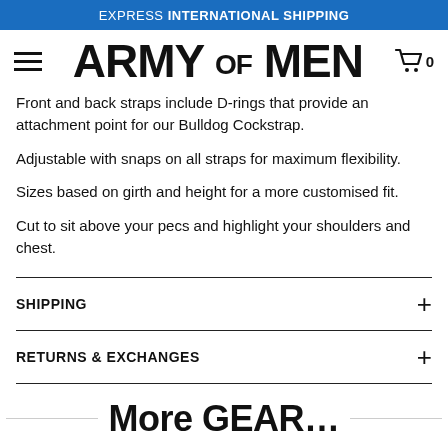EXPRESS INTERNATIONAL SHIPPING
[Figure (logo): Army of Men logo with hamburger menu and shopping cart icon showing 0 items]
Front and back straps include D-rings that provide an attachment point for our Bulldog Cockstrap.
Adjustable with snaps on all straps for maximum flexibility.
Sizes based on girth and height for a more customised fit.
Cut to sit above your pecs and highlight your shoulders and chest.
SHIPPING
RETURNS & EXCHANGES
More GEAR...